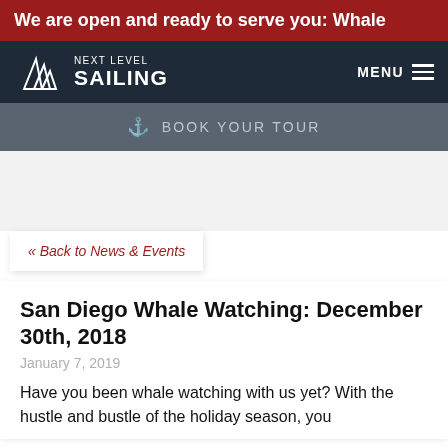We are open and ready to serve you: Whale
[Figure (logo): Next Level Sailing logo with sail triangles icon and text]
MENU
⚓ BOOK YOUR TOUR
« Back to News & Events
San Diego Whale Watching: December 30th, 2018
January 7, 2019
Have you been whale watching with us yet? With the hustle and bustle of the holiday season, you